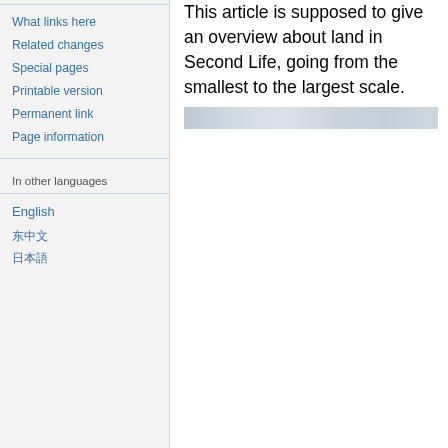What links here
Related changes
Special pages
Printable version
Permanent link
Page information
In other languages
English
中文
日本語
This article is supposed to give an overview about land in Second Life, going from the smallest to the largest scale.
[Figure (photo): Blurred/faded image strip at the top of the main content area]